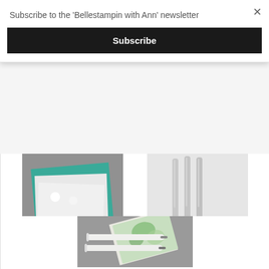Subscribe to the 'Bellestampin with Ann' newsletter
Subscribe
[Figure (photo): Mini Stampin' Dimensionals product photo showing teal and white paper layers with small white adhesive dots on a gray background]
Mini Stampin' Dimensionals
$6.00
[Figure (photo): Blending Brushes product photo showing three silver-handled blending brushes on a white background]
Blending Brushes
$21.00
[Figure (photo): Water Painters product photo showing two white water brush pens next to a green watercolor painted sheet on a gray background]
Water Painters